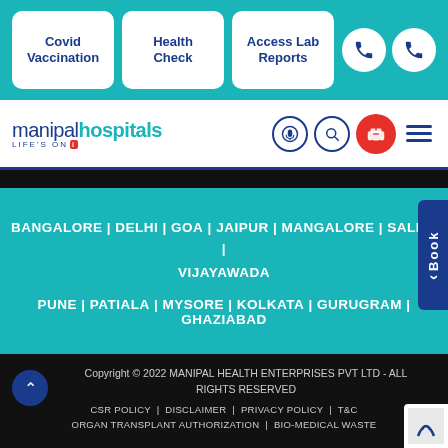[Figure (screenshot): Manipal Hospitals website mobile screenshot showing navigation bar with Covid Vaccination, Health Check, Access Lab Reports buttons, logo, city links, footer copyright, and bottom navigation]
Covid Vaccination
Health Check
Access Lab Reports
[Figure (logo): Manipal Hospitals logo with LIFE'S ON tagline]
BANGALORE | DELHI | GOA | JAIPUR | MANGALORE | SALEM | VIJAYAWADA
PUNE | PATIALA | MYSORE | KOLKATA | GURUGRAM | GHAZIABAD
Book
Copyright © 2022 MANIPAL HEALTH ENTERPRISES PVT LTD - ALL RIGHTS RESERVED
CSR POLICY | DISCLAIMER | PRIVACY POLICY | T&C
ORGAN TRANSPLANT AUTHORIZATION | BIO-MEDICAL WASTE
Health Check
Book An Appointment